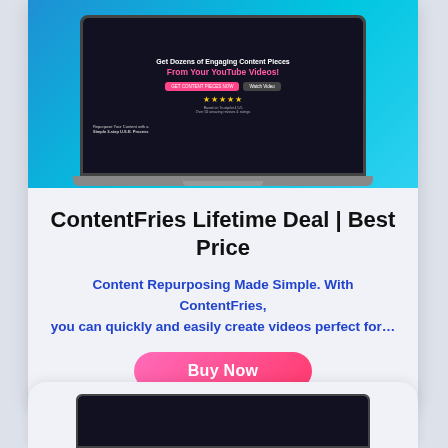[Figure (screenshot): Screenshot of ContentFries website showing laptop mockup with dark background, headline 'Get Dozens of Engaging Content Pieces From Your YouTube Videos', star ratings, and buttons, set against a blue gradient background.]
ContentFries Lifetime Deal | Best Price
Content Repurposing Made Simple. With ContentFries, you can quickly and easily create videos perfect for…
[Figure (screenshot): Partial screenshot of another ContentFries page showing a dark tablet/monitor mockup at the bottom of the page.]